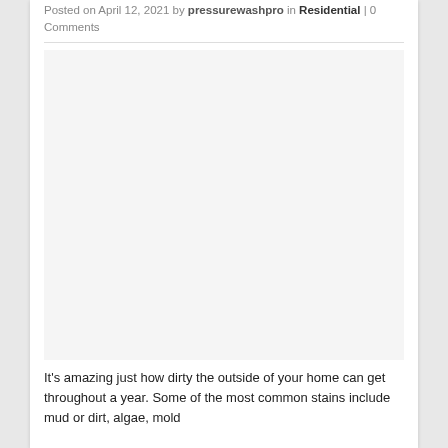Posted on April 12, 2021 by pressurewashpro in Residential | 0 Comments
[Figure (photo): Large image placeholder area (white/light grey rectangle), likely a photo of a home exterior being pressure washed]
It's amazing just how dirty the outside of your home can get throughout a year. Some of the most common stains include mud or dirt, algae, mold